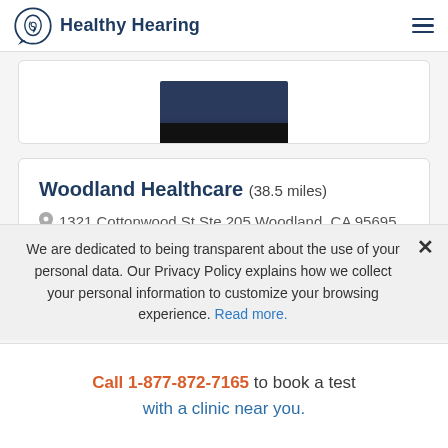Healthy Hearing
[Figure (photo): Partial photo of a person in a dark jacket, cropped at the bottom of a white card]
Woodland Healthcare (38.5 miles)
1321 Cottonwood St Ste 205 Woodland, CA 95695
We are dedicated to being transparent about the use of your personal data. Our Privacy Policy explains how we collect your personal information to customize your browsing experience. Read more.
Call 1-877-872-7165 to book a test with a clinic near you.